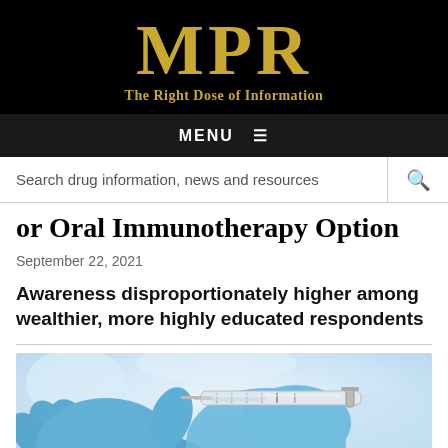MPR — The Right Dose of Information
MENU ☰
Search drug information, news and resources
or Oral Immunotherapy Option
September 22, 2021
Awareness disproportionately higher among wealthier, more highly educated respondents
[Figure (photo): Close-up photo of gloved hands in blue latex gloves holding a medical syringe/injection needle against a blurred white background]